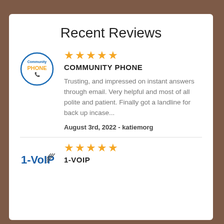Recent Reviews
[Figure (logo): Community Phone circular logo with blue border and orange phone icon]
★★★★★
COMMUNITY PHONE
Trusting, and impressed on instant answers through email. Very helpful and most of all polite and patient. Finally got a landline for back up incase...
August 3rd, 2022 - katiemorg
[Figure (logo): 1-VoIP logo in blue and black with signal icon]
★★★★★
1-VOIP